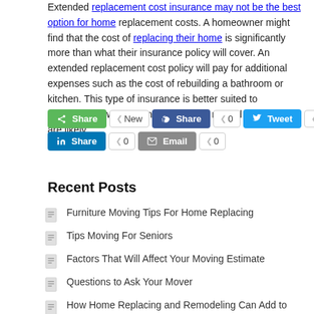Extended replacement cost insurance may not be the best option for home replacement costs. A homeowner might find that the cost of replacing their home is significantly more than what their insurance policy will cover. An extended replacement cost policy will pay for additional expenses such as the cost of rebuilding a bathroom or kitchen. This type of insurance is better suited to homeowners who live in areas where natural catastrophes are likely.
[Figure (infographic): Social sharing buttons: Share (green), Facebook Share (0), Tweet (0), LinkedIn Share (0), Email (0)]
Recent Posts
Furniture Moving Tips For Home Replacing
Tips Moving For Seniors
Factors That Will Affect Your Moving Estimate
Questions to Ask Your Mover
How Home Replacing and Remodeling Can Add to Your Homes Value?
Saving Tips When Moving
How to Calculate the Difference Between Apartment and House